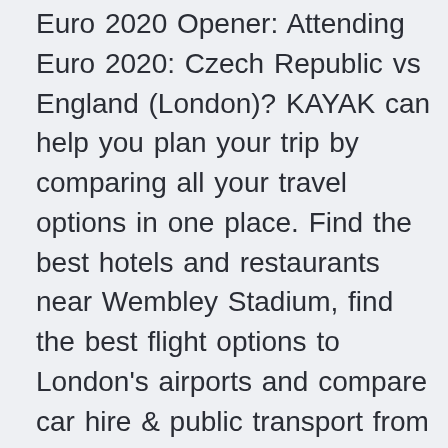Euro 2020 Opener: Attending Euro 2020: Czech Republic vs England (London)? KAYAK can help you plan your trip by comparing all your travel options in one place. Find the best hotels and restaurants near Wembley Stadium, find the best flight options to London's airports and compare car hire & public transport from the airport to Euro 2020: Czech Republic vs England (London). · Schick scored both goals for the Czech Republic today in a 2-0 victory over Scotland at the European Championship. But it was his second goal that will be talked about for years to come. Jun 13, 2021 · Czech Republic.